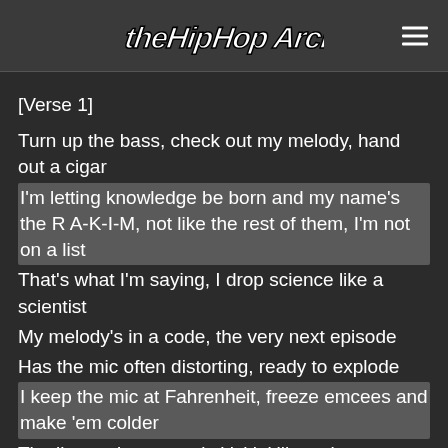The Hip Hop Archive
[Verse 1]
Turn up the bass, check out my melody, hand out a cigar
I'm letting knowledge be born and my name's the R A-K-I-M, not like the rest of them, I'm not on a list
That's what I'm saying, I drop science like a scientist
My melody's in a code, the very next episode
Has the mic often distorting, ready to explode
I keep the mic at Fahrenheit, freeze emcees and make 'em colder
The listener's system is kickin' like solar
As I memorize, advertise like a poet
Keep you going when I'm flowing, smooth enough,